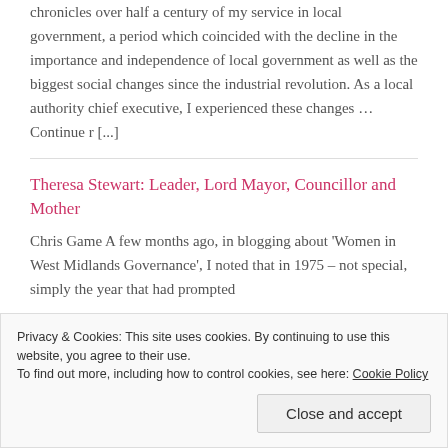chronicles over half a century of my service in local government, a period which coincided with the decline in the importance and independence of local government as well as the biggest social changes since the industrial revolution. As a local authority chief executive, I experienced these changes … Continue r [...]
Theresa Stewart: Leader, Lord Mayor, Councillor and Mother
Chris Game A few months ago, in blogging about 'Women in West Midlands Governance', I noted that in 1975 – not special, simply the year that had prompted
Privacy & Cookies: This site uses cookies. By continuing to use this website, you agree to their use. To find out more, including how to control cookies, see here: Cookie Policy